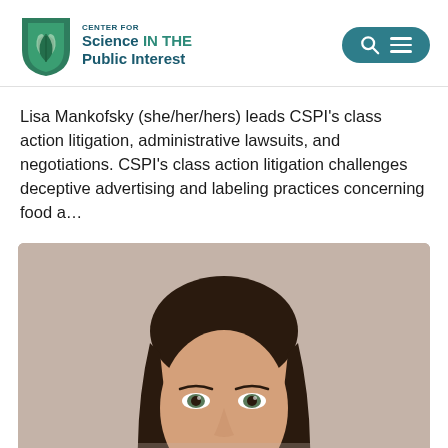[Figure (logo): Center for Science in the Public Interest logo — green leaf shield icon with teal/dark blue text]
[Figure (other): Teal rounded pill button with a magnifying glass Q icon and three horizontal lines (hamburger menu icon)]
Lisa Mankofsky (she/her/hers) leads CSPI's class action litigation, administrative lawsuits, and negotiations. CSPI's class action litigation challenges deceptive advertising and labeling practices concerning food a…
[Figure (photo): Professional headshot of a woman with long dark brown hair, looking at the camera, against a neutral beige/taupe background. Her face is partially visible — forehead to just below nose. Eyes are hazel/green.]